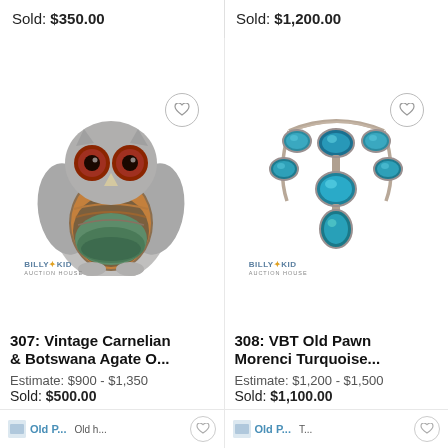Sold: $350.00
Sold: $1,200.00
[Figure (photo): Silver owl brooch with carnelian and botswana agate gemstone body, red eyes, Billy the Kid Auction House logo watermark]
[Figure (photo): VBT Old Pawn Morenci turquoise necklace with multiple blue-green stones on silver chain, Billy the Kid Auction House logo watermark]
307: Vintage Carnelian & Botswana Agate O...
308: VBT Old Pawn Morenci Turquoise...
Estimate: $900 - $1,350
Sold: $500.00
Estimate: $1,200 - $1,500
Sold: $1,100.00
Old P...
Old P...